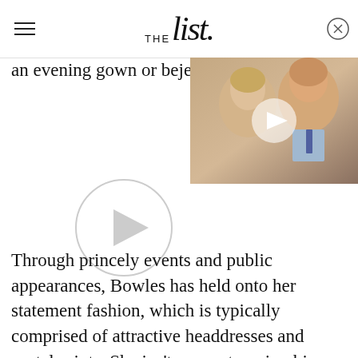THE list
an evening gown or bejewele
[Figure (photo): Photo of Camilla Bowles and Prince Charles smiling, with a video play button overlay]
[Figure (other): Large circular video play button on white background]
Through princely events and public appearances, Bowles has held onto her statement fashion, which is typically comprised of attractive headdresses and pastel prints. She isn't averse to going big and bold on